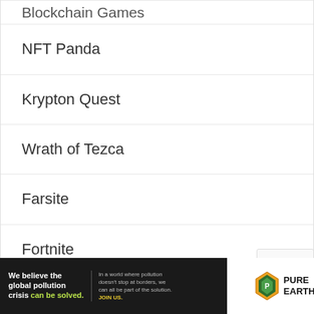Blockchain Games
NFT Panda
Krypton Quest
Wrath of Tezca
Farsite
Fortnite
Technical Fixes
[Figure (other): reCAPTCHA widget partial view]
[Figure (other): Pure Earth advertisement banner — black left section: 'We believe the global pollution crisis can be solved.' / 'In a world where pollution doesn't stop at borders, we can all be part of the solution. JOIN US.' Right white section with Pure Earth logo diamond and text PURE EARTH.]